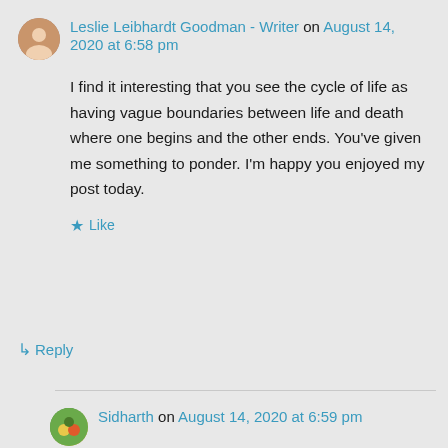Leslie Leibhardt Goodman - Writer on August 14, 2020 at 6:58 pm
I find it interesting that you see the cycle of life as having vague boundaries between life and death where one begins and the other ends. You’ve given me something to ponder. I’m happy you enjoyed my post today.
Like
Reply
Sidharth on August 14, 2020 at 6:59 pm